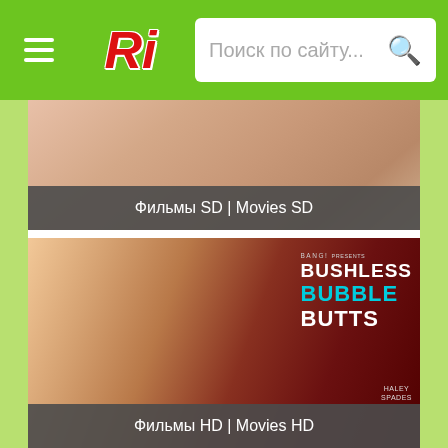[Figure (screenshot): Website header with green background, hamburger menu icon, 'Ri' logo in red italic text, and a search bar with placeholder text 'Поиск по сайту...' and a search icon]
[Figure (photo): Partially visible movie cover image (SD version) with skin-tone content, partially cropped at top]
Фильмы SD | Movies SD
[Figure (photo): Movie cover for 'Bushless Bubble Butts' by Bang! featuring Haley Spades, with a blonde model on the cover]
Фильмы HD | Movies HD